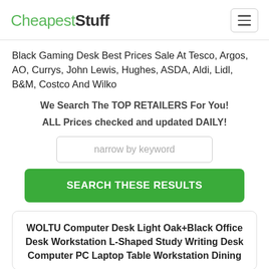CheapestStuff
Black Gaming Desk Best Prices Sale At Tesco, Argos, AO, Currys, John Lewis, Hughes, ASDA, Aldi, Lidl, B&M, Costco And Wilko
We Search The TOP RETAILERS For You!
ALL Prices checked and updated DAILY!
narrow by keyword
SEARCH THESE RESULTS
WOLTU Computer Desk Light Oak+Black Office Desk Workstation L-Shaped Study Writing Desk Computer PC Laptop Table Workstation Dining